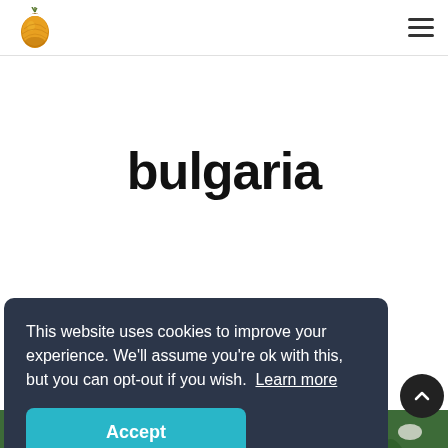Logo and navigation header with hamburger menu
bulgaria
This website uses cookies to improve your experience. We'll assume you're ok with this, but you can opt-out if you wish. Learn more
Accept